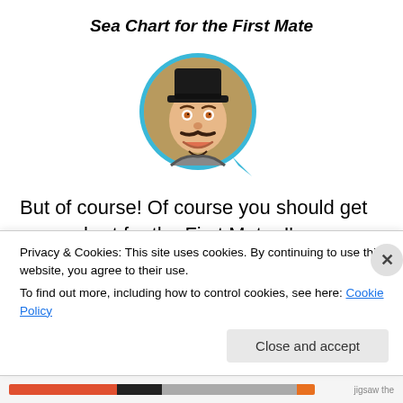Sea Chart for the First Mate
[Figure (illustration): Illustrated character portrait: a smiling mustachioed man wearing a black top hat, shown inside a circular blue speech/chat bubble frame, with a beige/wood background.]
But of course! Of course you should get a sea chart for the First Mate. I'm anxious that they get going soon so my sister can get the family china dinner set.
Objective: Give the sea chart to the First Mate in the
Privacy & Cookies: This site uses cookies. By continuing to use this website, you agree to their use.
To find out more, including how to control cookies, see here: Cookie Policy
Close and accept